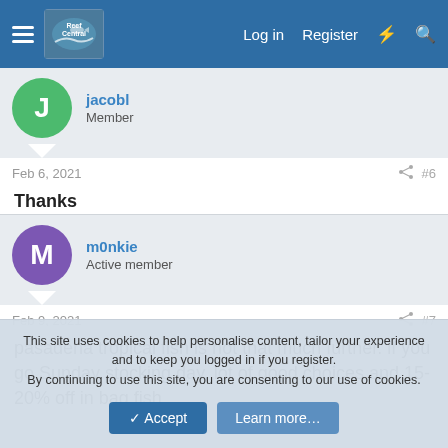Reef Central - Log in | Register
jacobl
Member
Feb 6, 2021  #6
Thanks
m0nkie
Active member
Feb 9, 2021  #7
pasadena tropical fish is not that much further. if you go Sunday stocking day, lot of good choices and 15-20% off in bag fish
This site uses cookies to help personalise content, tailor your experience and to keep you logged in if you register.
By continuing to use this site, you are consenting to our use of cookies.